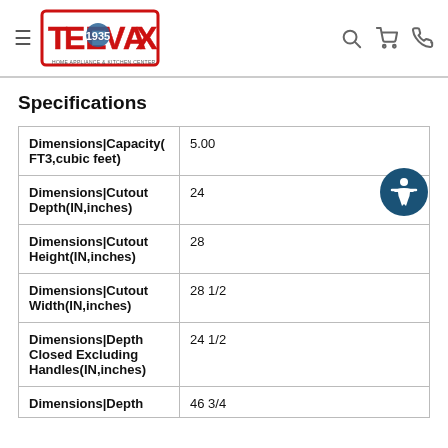TeeVax Home Appliance & Kitchen Center
Specifications
| Specification | Value |
| --- | --- |
| Dimensions|Capacity(FT3,cubic feet) | 5.00 |
| Dimensions|Cutout Depth(IN,inches) | 24 |
| Dimensions|Cutout Height(IN,inches) | 28 |
| Dimensions|Cutout Width(IN,inches) | 28 1/2 |
| Dimensions|Depth Closed Excluding Handles(IN,inches) | 24 1/2 |
| Dimensions|Depth | 46 3/4 |